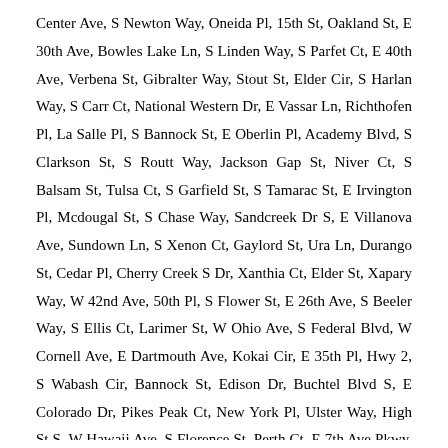Center Ave, S Newton Way, Oneida Pl, 15th St, Oakland St, E 30th Ave, Bowles Lake Ln, S Linden Way, S Parfet Ct, E 40th Ave, Verbena St, Gibralter Way, Stout St, Elder Cir, S Harlan Way, S Carr Ct, National Western Dr, E Vassar Ln, Richthofen Pl, La Salle Pl, S Bannock St, E Oberlin Pl, Academy Blvd, S Clarkson St, S Routt Way, Jackson Gap St, Niver Ct, S Balsam St, Tulsa Ct, S Garfield St, S Tamarac St, E Irvington Pl, Mcdougal St, S Chase Way, Sandcreek Dr S, E Villanova Ave, Sundown Ln, S Xenon Ct, Gaylord St, Ura Ln, Durango St, Cedar Pl, Cherry Creek S Dr, Xanthia Ct, Elder St, Xapary Way, W 42nd Ave, 50th Pl, S Flower St, E 26th Ave, S Beeler Way, S Ellis Ct, Larimer St, W Ohio Ave, S Federal Blvd, W Cornell Ave, E Dartmouth Ave, Kokai Cir, E 35th Pl, Hwy 2, S Wabash Cir, Bannock St, Edison Dr, Buchtel Blvd S, E Colorado Dr, Pikes Peak Ct, New York Pl, Ulster Way, High St S, W Hawaii Ave, S Florence St, Perth Ct, E 7th Ave Pkwy, E Missouri Ave, S Lipan St, W 29th Ave, E 38th Ave, E Fairmount Dr, S Winona Ct, S Galapago St, S Alcott St, E Floyd Ave, P1599 P1598, W 6th Ave, Wazee St, S Grape St, W Chenango Ave, Fontana Way, Ember St, 39th St, W Brown Pl, S Akron St, Trenton Way, E 11th Ave, S Jasmine Way, E 5th Pl, Lakeshore Dr, W Mansfield Pkwy, High St N, N Kalamath St, S Washington St, Salem St, E Belleview Ave, E Amherst Dr, S Clayton St, 69th Ave